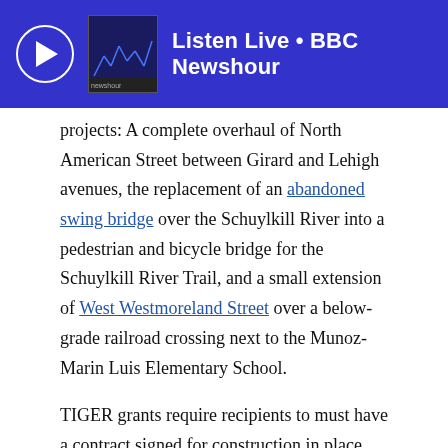[Figure (screenshot): BBC Newshour audio player banner with blue background, play button circle, thumbnail image, and 'Listen Live • BBC Newshour' text]
projects: A complete overhaul of North American Street between Girard and Lehigh avenues, the replacement of an abandoned swing bridge over the Schuylkill River into a pedestrian and bicycle bridge for the Schuylkill River Trail, and a small extension of West Westmoreland Street over a below-grade railroad crossing next to the Munoz-Marin Luis Elementary School.
TIGER grants require recipients to must have a contract signed for construction in place and ready to build within two years of the award, which means that the North American Street project needs a contract in place before the fall.
Everything is in place for the Schuylkill River Trail swing